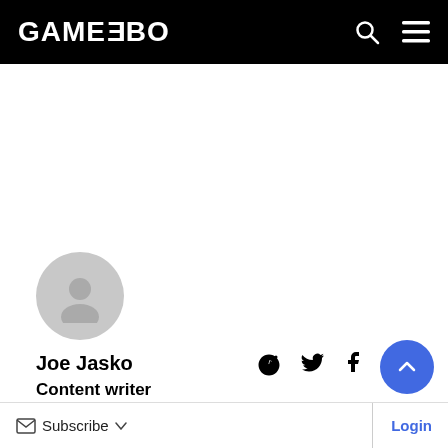GAMEZEBO
[Figure (illustration): Grey circular user avatar placeholder icon]
Joe Jasko
Content writer
Published on 16, July 2013 | 9 years ago
Subscribe  Login